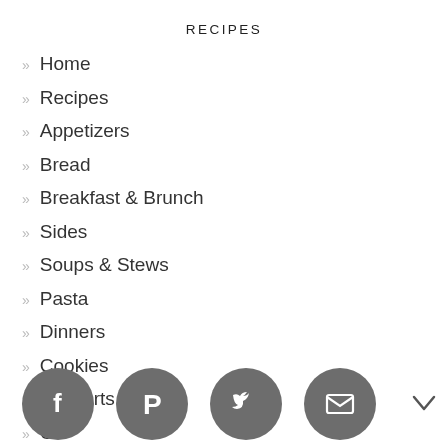RECIPES
Home
Recipes
Appetizers
Bread
Breakfast & Brunch
Sides
Soups & Stews
Pasta
Dinners
Cookies
Desserts
Ot[her]
Tra[vels]
[Figure (infographic): Social share bar with Facebook, Pinterest, Twitter, and email icons as grey circles, plus a chevron-down arrow]